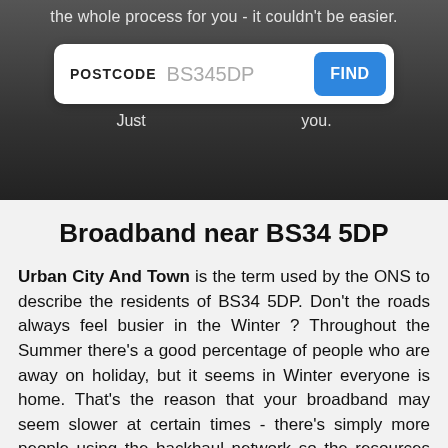[Figure (screenshot): Hero banner with dark background photo of a person, overlaid with partial text 'the whole process for you - it couldn't be easier.' and 'Just ... you.' A postcode search bar showing 'POSTCODE BS345DP' and a blue 'FIND' button.]
Broadband near BS34 5DP
Urban City And Town is the term used by the ONS to describe the residents of BS34 5DP. Don't the roads always feel busier in the Winter ? Throughout the Summer there's a good percentage of people who are away on holiday, but it seems in Winter everyone is home. That's the reason that your broadband may seem slower at certain times - there's simply more people using the backhaul network so the resources are shared across a greater number of connections.